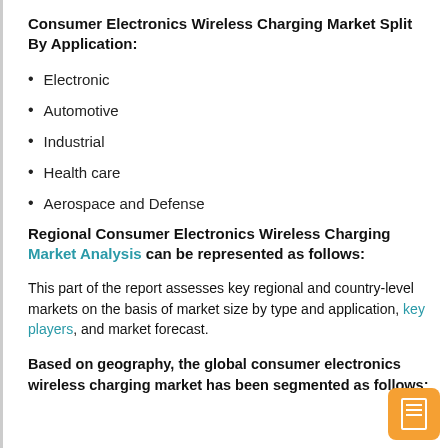Consumer Electronics Wireless Charging Market Split By Application:
Electronic
Automotive
Industrial
Health care
Aerospace and Defense
Regional Consumer Electronics Wireless Charging Market Analysis can be represented as follows:
This part of the report assesses key regional and country-level markets on the basis of market size by type and application, key players, and market forecast.
Based on geography, the global consumer electronics wireless charging market has been segmented as follows: